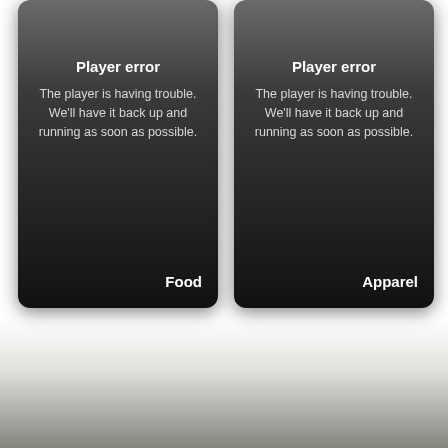[Figure (screenshot): Two side-by-side dark rounded player error cards on a white background. Left card shows 'Player error' heading, error message text, and 'Food' label at bottom right. Right card shows same 'Player error' heading, same error message, and 'Apparel' label at bottom right. Below the cards is a white area with a dark blurred shadow at the very bottom.]